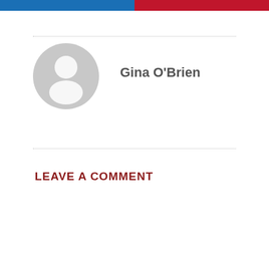[Figure (other): Two horizontal color bars at top of page: left half blue, right half red/crimson]
[Figure (illustration): Generic user avatar icon: grey circle with silhouette of a person (head and shoulders)]
Gina O'Brien
LEAVE A COMMENT